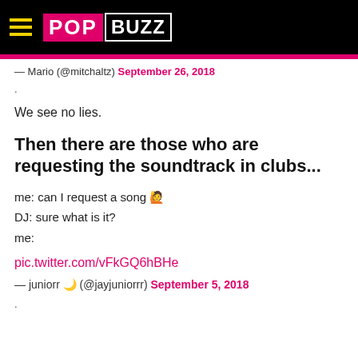POP BUZZ
— Mario (@mitchaltz) September 26, 2018
.
We see no lies.
Then there are those who are requesting the soundtrack in clubs...
me: can I request a song 🙋
DJ: sure what is it?
me:
pic.twitter.com/vFkGQ6hBHe
— juniorr 🌙 (@jayjuniorrr) September 5, 2018
.